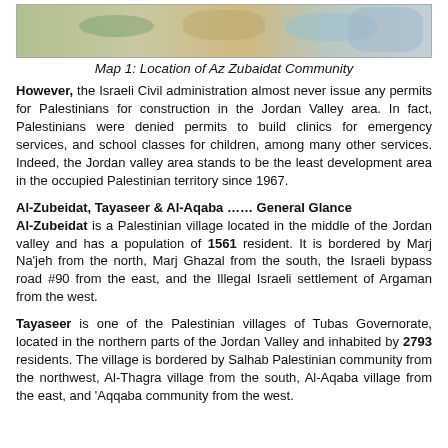[Figure (map): Map showing the location of Az Zubaidat Community with terrain and surrounding areas]
Map 1: Location of Az Zubaidat Community
However, the Israeli Civil administration almost never issue any permits for Palestinians for construction in the Jordan Valley area. In fact, Palestinians were denied permits to build clinics for emergency services, and school classes for children, among many other services. Indeed, the Jordan valley area stands to be the least development area in the occupied Palestinian territory since 1967.
Al-Zubeidat, Tayaseer & Al-Aqaba …… General Glance
Al-Zubeidat is a Palestinian village located in the middle of the Jordan valley and has a population of 1561 resident. It is bordered by Marj Na'jeh from the north, Marj Ghazal from the south, the Israeli bypass road #90 from the east, and the Illegal Israeli settlement of Argaman from the west.
Tayaseer is one of the Palestinian villages of Tubas Governorate, located in the northern parts of the Jordan Valley and inhabited by 2793 residents. The village is bordered by Salhab Palestinian community from the northwest, Al-Thagra village from the south, Al-Aqaba village from the east, and 'Aqqaba community from the west.